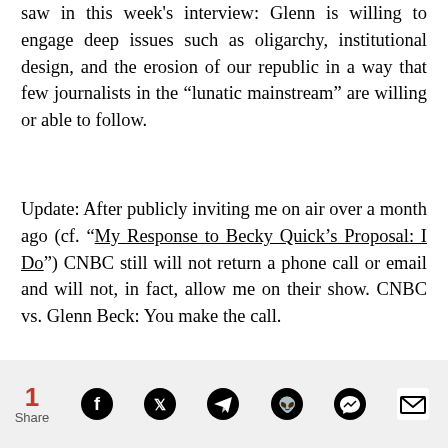saw in this week's interview: Glenn is willing to engage deep issues such as oligarchy, institutional design, and the erosion of our republic in a way that few journalists in the “lunatic mainstream” are willing or able to follow.
Update: After publicly inviting me on air over a month ago (cf. “My Response to Becky Quick’s Proposal: I Do”) CNBC still will not return a phone call or email and will not, in fact, allow me on their show. CNBC vs. Glenn Beck: You make the call.
1 Share [social icons: Facebook, Twitter, Telegram, Reddit, Messenger, Email]